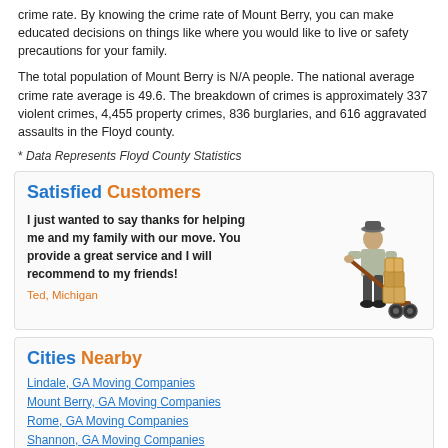crime rate. By knowing the crime rate of Mount Berry, you can make educated decisions on things like where you would like to live or safety precautions for your family.
The total population of Mount Berry is N/A people. The national average crime rate average is 49.6. The breakdown of crimes is approximately 337 violent crimes, 4,455 property crimes, 836 burglaries, and 616 aggravated assaults in the Floyd county.
* Data Represents Floyd County Statistics
Satisfied Customers
I just wanted to say thanks for helping me and my family with our move. You provide a great service and I will recommend to my friends!
Ted, Michigan
[Figure (illustration): Illustration of a mover in uniform leaning on a hand truck loaded with boxes]
Cities Nearby
Lindale, GA Moving Companies
Mount Berry, GA Moving Companies
Rome, GA Moving Companies
Shannon, GA Moving Companies